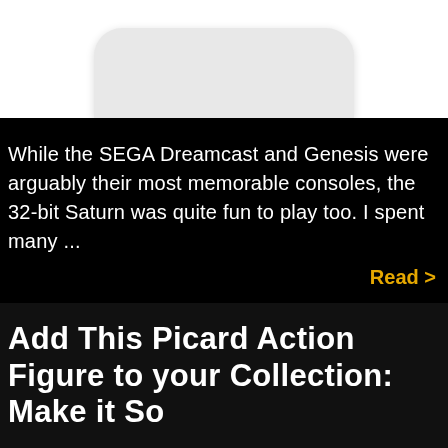[Figure (photo): Top portion of a white electronic device (possibly wireless earbuds case or similar) on a white background, cropped at the bottom of the image section]
While the SEGA Dreamcast and Genesis were arguably their most memorable consoles, the 32-bit Saturn was quite fun to play too. I spent many ...
Read >
Add This Picard Action Figure to your Collection: Make it So
[Figure (photo): Bottom portion of a Picard action figure photo, showing the head and hands of the figure against a blurred background]